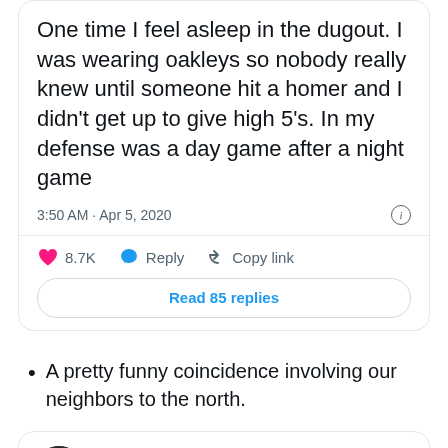One time I feel asleep in the dugout. I was wearing oakleys so nobody really knew until someone hit a homer and I didn't get up to give high 5's. In my defense was a day game after a night game
3:50 AM · Apr 5, 2020
8.7K   Reply   Copy link
Read 85 replies
A pretty funny coincidence involving our neighbors to the north.
Sam Amico @AmicoHoops · Follow